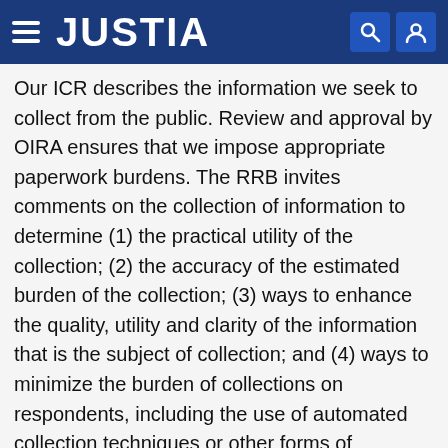JUSTIA
Our ICR describes the information we seek to collect from the public. Review and approval by OIRA ensures that we impose appropriate paperwork burdens. The RRB invites comments on the collection of information to determine (1) the practical utility of the collection; (2) the accuracy of the estimated burden of the collection; (3) ways to enhance the quality, utility and clarity of the information that is the subject of collection; and (4) ways to minimize the burden of collections on respondents, including the use of automated collection techniques or other forms of information technology. Comments to RRB or OIRA must contain the OMB control number of the ICR. For proper consideration of your comments, it is best if RRB and OIRA receive them within 30 days of publication date. Under Section 1(k) of the Railroad Unemployment Insurance Act (RUIA), unemployment and sickness benefits are not payable for any day with